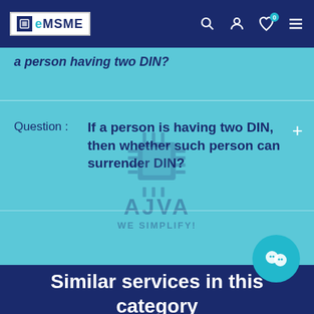eMSME navigation bar with logo, search, user, wishlist, and menu icons
a person having two DIN?
Question : If a person is having two DIN, then whether such person can surrender DIN?
[Figure (logo): AJVA WE SIMPLIFY! watermark with chip icon]
[Figure (illustration): Teal chat/message bubble icon button]
Similar services in this category